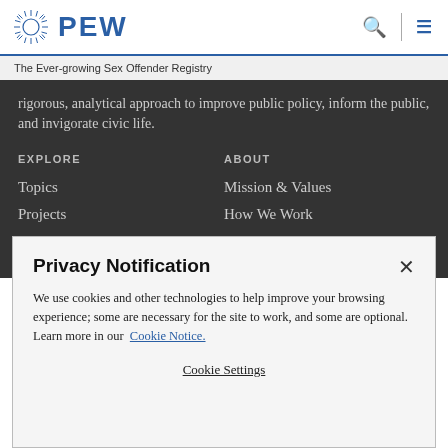PEW
The Ever-growing Sex Offender Registry
rigorous, analytical approach to improve public policy, inform the public, and invigorate civic life.
EXPLORE
Topics
Projects
News Room
ABOUT
Mission & Values
How We Work
Contact Us
Privacy Notification
We use cookies and other technologies to help improve your browsing experience; some are necessary for the site to work, and some are optional. Learn more in our Cookie Notice.
Cookie Settings